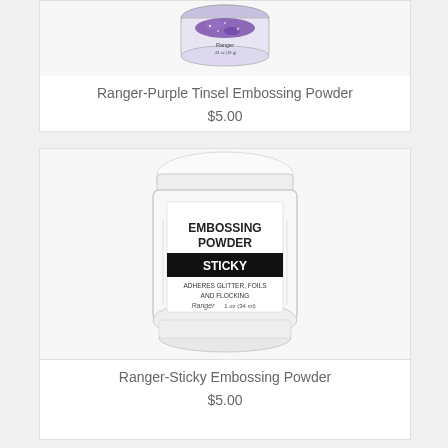[Figure (photo): Ranger Purple Tinsel Embossing Powder jar - small jar with purple glitter powder]
Ranger-Purple Tinsel Embossing Powder
$5.00
[Figure (photo): Ranger Sticky Embossing Powder jar - white cylindrical jar with label reading EMBOSSING POWDER STICKY ADHERES GLITTER, FOILS AND FLOCKING, Ranger, 1oz (34ml)]
Ranger-Sticky Embossing Powder
$5.00